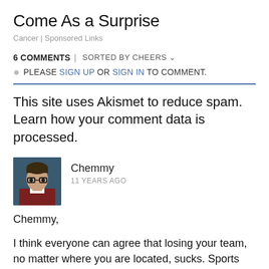Come As a Surprise
Cancer | Sponsored Links
6 COMMENTS | SORTED BY CHEERS ▾ PLEASE SIGN UP OR SIGN IN TO COMMENT.
This site uses Akismet to reduce spam. Learn how your comment data is processed.
Chemmy 11 YEARS AGO
Chemmy,

I think everyone can agree that losing your team, no matter where you are located, sucks. Sports fans put in a substantial emotional investment in supporting their team, however, teams need to be properly placed in markets where